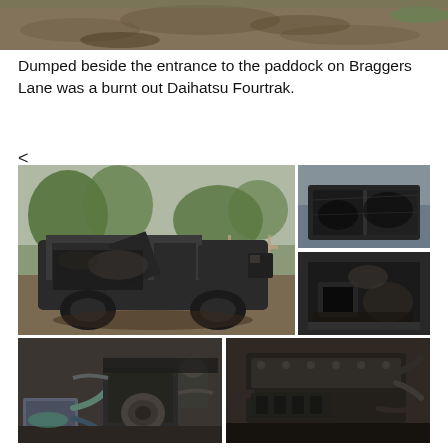[Figure (photo): Top portion of a photo showing bare earth/ground with sparse grass and trees in background - cropped top of a paddock scene]
Dumped beside the entrance to the paddock on Braggers Lane was a burnt out Daihatsu Fourtrak.
<
[Figure (photo): Large photo of a burnt out Daihatsu Fourtrak 4x4 vehicle showing the skeletal metal frame, doors open, charred interior, parked near trees and a fence]
[Figure (photo): Close-up photo of the burnt vehicle showing the right side/door area with heavy fire damage and charred metal]
[Figure (photo): Close-up photo showing the interior/floor area of the burnt vehicle with melted and charred components]
[Figure (photo): Photo showing the engine bay of the burnt Daihatsu Fourtrak from the front left, with melted and fire-damaged engine components]
[Figure (photo): Photo showing the engine bay of the burnt Daihatsu Fourtrak from the front right, with charred engine components and hoses]